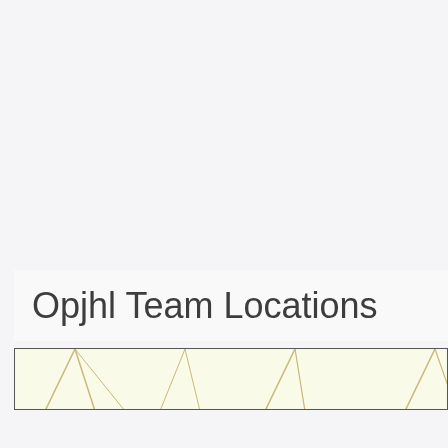Opjhl Team Locations
[Figure (map): Partial map strip showing geographic outlines with a light yellow background, partially visible at the bottom of the title section]